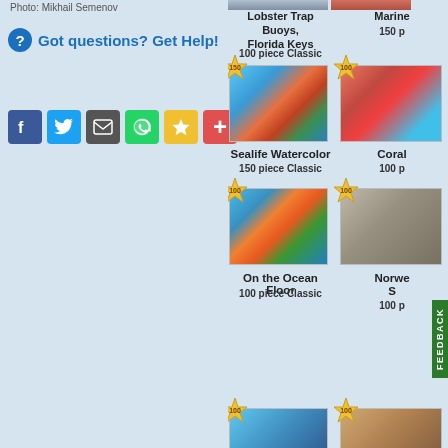Photo: Mikhail Semenov
Got questions? Get Help!
[Figure (screenshot): Social share buttons: Facebook (blue), Twitter (blue), Email (dark gray), WhatsApp (green), Favorite star (yellow), More/plus (red)]
[Figure (screenshot): Partial thumbnail image strip at top right]
Lobster Trap Buoys, Florida Keys
100 piece Classic
[Figure (photo): Puzzle thumbnail: Sealife Watercolor - colorful cartoon octopus and fish underwater scene with 150-piece badge]
Sealife Watercolor
150 piece Classic
[Figure (photo): Puzzle thumbnail: On the Ocean Floor - cartoon clownfish and sea creatures with 100-piece badge]
On the Ocean Floor
100 piece Classic
Marine
150 p
Coral
100 p
Norwe
S
100 p
[Figure (photo): Partial puzzle thumbnail at bottom left with 100-piece badge]
[Figure (photo): Partial puzzle thumbnail at bottom right with 100-piece badge]